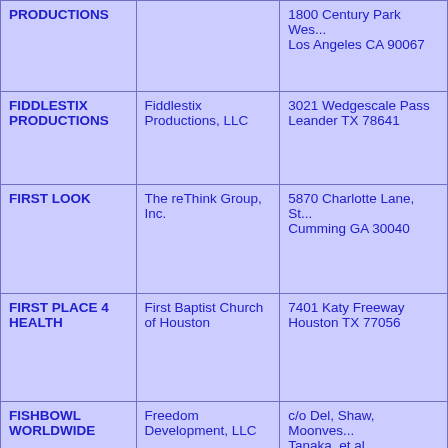| Production Name | Company | Address |
| --- | --- | --- |
| PRODUCTIONS | Gillian Anderson | c/o Linton Brittanham &...
1800 Century Park Wes...
Los Angeles CA 90067 |
| FIDDLESTIX PRODUCTIONS | Fiddlestix Productions, LLC | 3021 Wedgescale Pass
Leander TX 78641 |
| FIRST LOOK | The reThink Group, Inc. | 5870 Charlotte Lane, St...
Cumming GA 30040 |
| FIRST PLACE 4 HEALTH | First Baptist Church of Houston | 7401 Katy Freeway
Houston TX 77056 |
| FISHBOWL WORLDWIDE | Freedom Development, LLC | c/o Del, Shaw, Moonves
Tanaka, et al |